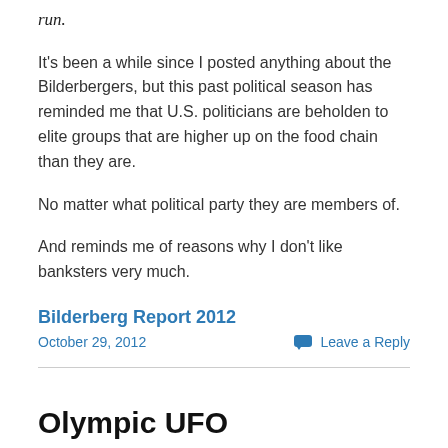run.
It's been a while since I posted anything about the Bilderbergers, but this past political season has reminded me that U.S. politicians are beholden to elite groups that are higher up on the food chain than they are.
No matter what political party they are members of.
And reminds me of reasons why I don't like banksters very much.
Bilderberg Report 2012
October 29, 2012
Leave a Reply
Olympic UFO